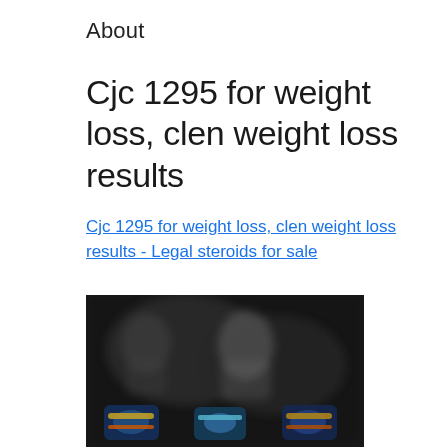About
Cjc 1295 for weight loss, clen weight loss results
Cjc 1295 for weight loss, clen weight loss results - Legal steroids for sale
[Figure (photo): Blurred dark image showing a person and colorful product icons at the bottom, related to bodybuilding or supplements]